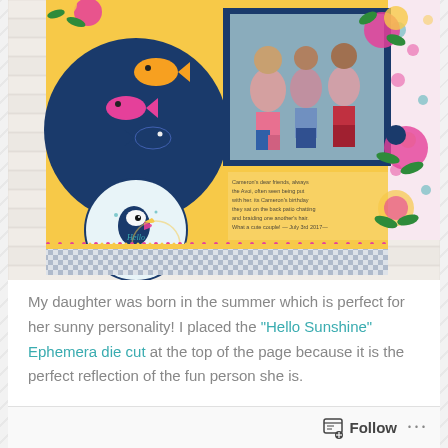[Figure (photo): A colorful scrapbook page featuring a photo of three girls sitting outside. The scrapbook layout has a bright yellow background with decorative fish stickers, floral die cuts in pink and green, navy blue circles, a toucan embellishment, and 'Hello Summer' text. A blue gingham border runs along the bottom. Handwritten journaling text is visible in the middle-right area.]
My daughter was born in the summer which is perfect for her sunny personality! I placed the "Hello Sunshine" Ephemera die cut at the top of the page because it is the perfect reflection of the fun person she is.
Follow ···